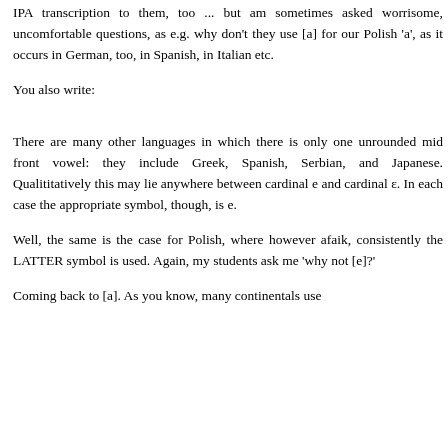as reformer of some other 'professeur du monde' (Weltverbesserer, IPA-verbesserer, in this case). I use your Dictionary in my classes--yea, I even recommend to purchase of your Dictionary to my students---I recommend the IPA transcription to them, too ... but am sometimes asked worrisome, uncomfortable questions, as e.g. why don't they use [a] for our Polish 'a', as it occurs in German, too, in Spanish, in Italian etc.
You also write:
There are many other languages in which there is only one unrounded mid front vowel: they include Greek, Spanish, Serbian, and Japanese. Qualititatively this may lie anywhere between cardinal e and cardinal ε. In each case the appropriate symbol, though, is e.
Well, the same is the case for Polish, where however afaik, consistently the LATTER symbol is used. Again, my students ask me 'why not [e]?'
Coming back to [a]. As you know, many continentals use